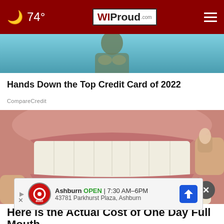74° WIProud.com
[Figure (photo): Person holding hands to chest, teal/blue background - credit card article image]
Hands Down the Top Credit Card of 2022
CompareCredit
[Figure (photo): Close-up photo of human teeth and dental veneers being compared]
[Figure (other): Tire Auto advertisement banner: Ashburn OPEN 7:30 AM-6PM, 43781 Parkhurst Plaza, Ashburn]
Here is the Actual Cost of One Day Full Mouth